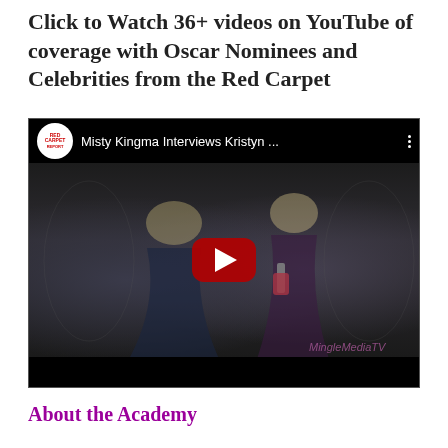Click to Watch 36+ videos on YouTube of coverage with Oscar Nominees and Celebrities from the Red Carpet
[Figure (screenshot): YouTube video thumbnail showing two women in formal dresses being interviewed on a red carpet. The video title reads 'Misty Kingma Interviews Kristyn ...' with a Red Carpet Report channel logo. A YouTube play button is centered on the image. MingleMediaTV watermark visible in bottom right.]
About the Academy